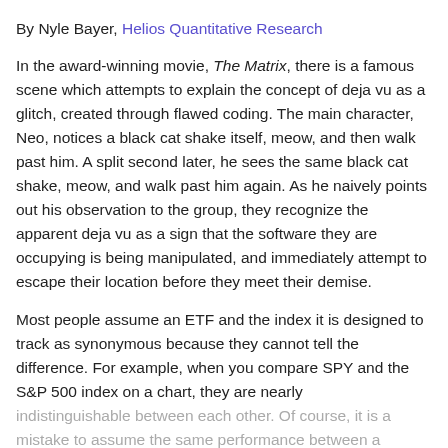By Nyle Bayer, Helios Quantitative Research
In the award-winning movie, The Matrix, there is a famous scene which attempts to explain the concept of deja vu as a glitch, created through flawed coding. The main character, Neo, notices a black cat shake itself, meow, and then walk past him. A split second later, he sees the same black cat shake, meow, and walk past him again. As he naively points out his observation to the group, they recognize the apparent deja vu as a sign that the software they are occupying is being manipulated, and immediately attempt to escape their location before they meet their demise.
Most people assume an ETF and the index it is designed to track as synonymous because they cannot tell the difference. For example, when you compare SPY and the S&P 500 index on a chart, they are nearly indistinguishable between each other. Of course, it is a mistake to assume the same performance between a passive investment and the index it is designed to track.